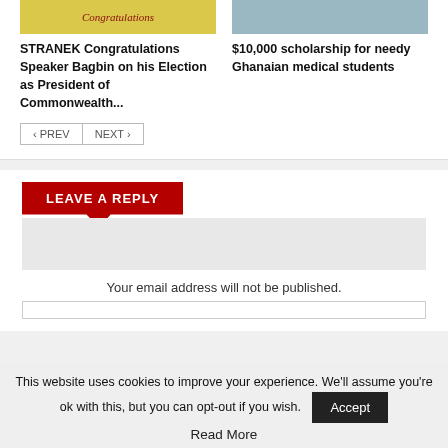[Figure (photo): Left card image: yellow congratulations banner with cursive text]
[Figure (photo): Right card image: medical students/doctors photo]
STRANEK Congratulations Speaker Bagbin on his Election as President of Commonwealth...
$10,000 scholarship for needy Ghanaian medical students
< PREV   NEXT >
LEAVE A REPLY
Your email address will not be published.
This website uses cookies to improve your experience. We'll assume you're ok with this, but you can opt-out if you wish.
Accept
Read More